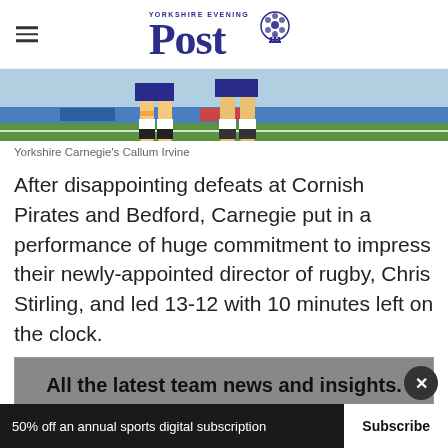Yorkshire Evening Post
[Figure (photo): Photo of Yorkshire Carnegie's Callum Irvine, showing players' legs on a rugby pitch]
Yorkshire Carnegie's Callum Irvine
After disappointing defeats at Cornish Pirates and Bedford, Carnegie put in a performance of huge commitment to impress their newly-appointed director of rugby, Chris Stirling, and led 13-12 with 10 minutes left on the clock.
All the latest team news and insights. No matter where you are!
50% off an annual sports digital subscription  Subscribe